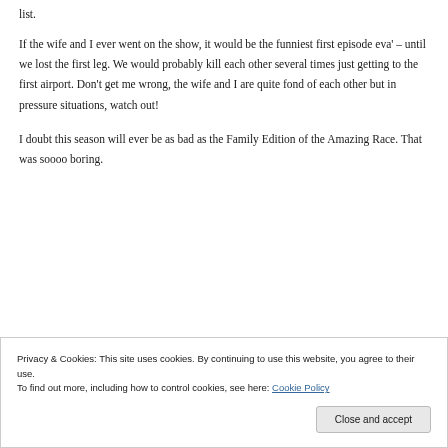list.
If the wife and I ever went on the show, it would be the funniest first episode eva' – until we lost the first leg. We would probably kill each other several times just getting to the first airport. Don't get me wrong, the wife and I are quite fond of each other but in pressure situations, watch out!
I doubt this season will ever be as bad as the Family Edition of the Amazing Race. That was soooo boring.
Privacy & Cookies: This site uses cookies. By continuing to use this website, you agree to their use.
To find out more, including how to control cookies, see here: Cookie Policy
Close and accept